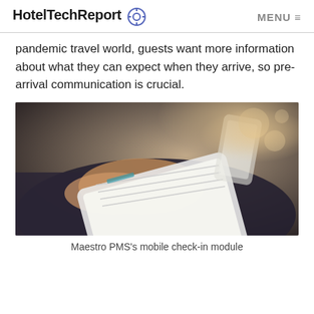HotelTechReport [logo] MENU ≡
pandemic travel world, guests want more information about what they can expect when they arrive, so pre-arrival communication is crucial.
[Figure (photo): Person using a tablet device with a smartphone in their other hand, showing mobile check-in interface. The photo shows hands interacting with digital devices.]
Maestro PMS's mobile check-in module